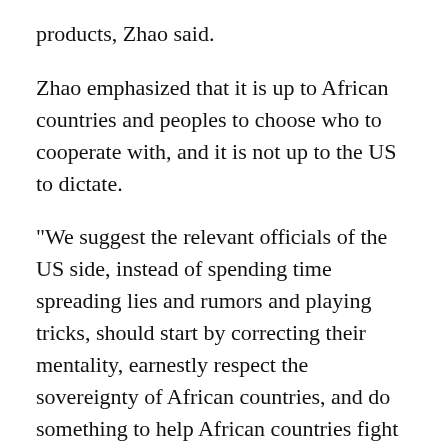products, Zhao said.
Zhao emphasized that it is up to African countries and peoples to choose who to cooperate with, and it is not up to the US to dictate.
"We suggest the relevant officials of the US side, instead of spending time spreading lies and rumors and playing tricks, should start by correcting their mentality, earnestly respect the sovereignty of African countries, and do something to help African countries fight the pandemic and develop their economies," Zhao said.